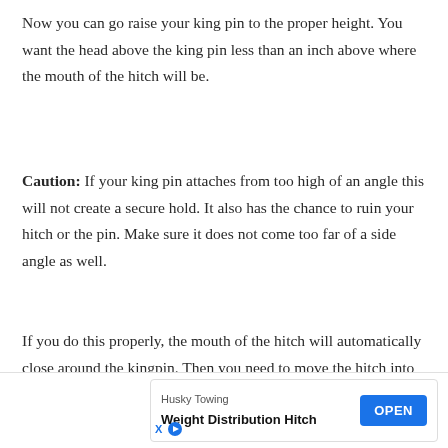Now you can go raise your king pin to the proper height. You want the head above the king pin less than an inch above where the mouth of the hitch will be.
Caution: If your king pin attaches from too high of an angle this will not create a secure hold. It also has the chance to ruin your hitch or the pin. Make sure it does not come too far of a side angle as well.
If you do this properly, the mouth of the hitch will automatically close around the kingpin. Then you need to move the hitch into the locked position. Then park your car (with the emergency brake) and do a visual exami...
[Figure (other): Advertisement banner for Husky Towing Weight Distribution Hitch with an OPEN button]